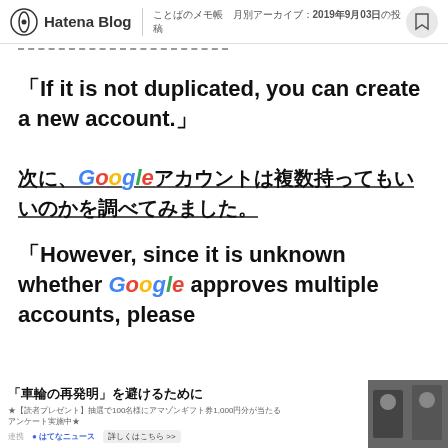Hatena Blog | ことばのメモ帳 月別アーカイブ：2019年9月03日の投稿
――――――――――――――――――――――
「If it is not duplicated, you can create a new account.」
次に、Googleアカウントは複数持ってもいいのかを調べてみました。
「However, since it is unknown whether Google approves multiple accounts, please